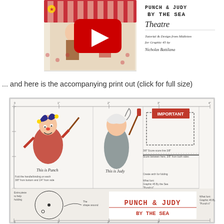[Figure (photo): Punch and Judy by the Sea Theatre craft project image with YouTube play button overlay. Shows a colorful puppet theatre with circus-style characters and decorative paper. Text reads 'Punch & Judy by the Sea Theatre' with 'Tutorial & Design from Midleton for Graphic 45 by Nicholas Battilana' in script font.]
... and here is the accompanying print out (click for full size)
[Figure (photo): Printout template sheet for the Punch & Judy by the Sea Theatre craft project. Shows cut-out figures of Punch and Judy characters, template boxes with dashed and solid cut lines, an 'IMPORTANT' stamp in red, instructions for folding and cutting, and partially visible title 'Punch & Judy' at bottom.]